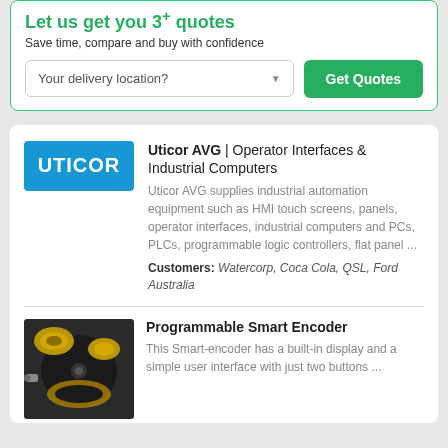Let us get you 3+ quotes
Save time, compare and buy with confidence
Your delivery location?
Get Quotes
Uticor AVG | Operator Interfaces & Industrial Computers
Uticor AVG supplies industrial automation equipment such as HMI touch screens, panels, operator interfaces, industrial computers and PCs, PLCs, programmable logic controllers, flat panel ...
Customers: Watercorp, Coca Cola, QSL, Ford Australia
[Figure (logo): Uticor blue logo with white text]
Programmable Smart Encoder
This Smart-encoder has a built-in display and a simple user interface with just two buttons ...
[Figure (photo): Industrial programmable smart encoder device, black with yellow/gold hardware components]